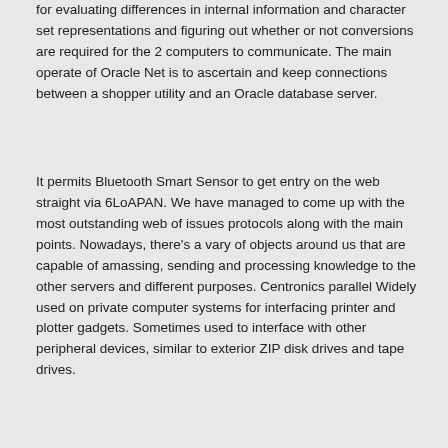for evaluating differences in internal information and character set representations and figuring out whether or not conversions are required for the 2 computers to communicate. The main operate of Oracle Net is to ascertain and keep connections between a shopper utility and an Oracle database server.
It permits Bluetooth Smart Sensor to get entry on the web straight via 6LoAPAN. We have managed to come up with the most outstanding web of issues protocols along with the main points. Nowadays, there's a vary of objects around us that are capable of amassing, sending and processing knowledge to the other servers and different purposes. Centronics parallel Widely used on private computer systems for interfacing printer and plotter gadgets. Sometimes used to interface with other peripheral devices, similar to exterior ZIP disk drives and tape drives.